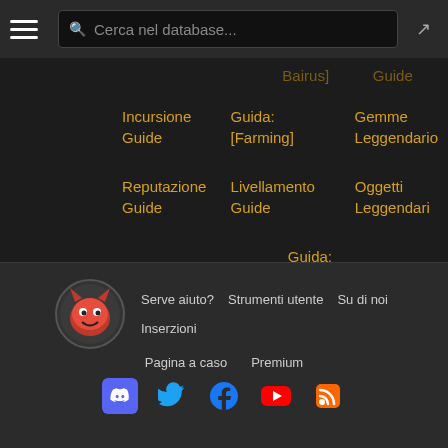Cerca nel database...
Bairus]
Guide
Incursione Guide
Guida: [Farming]
Gemme Leggendario
Reputazione Guide
Livellamento Guide
Oggetti Leggendari
Guida: [Runeword]
Serve aiuto? Strumenti utente Su di noi Inserzioni Pagina a caso Premium